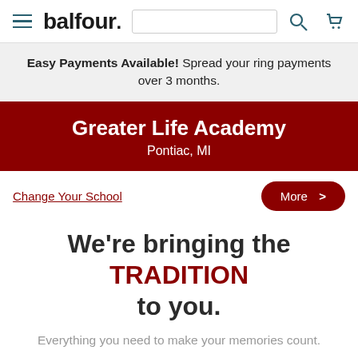balfour.
Easy Payments Available! Spread your ring payments over 3 months.
Greater Life Academy
Pontiac, MI
Change Your School
More >
We're bringing the TRADITION to you.
Everything you need to make your memories count.
OFFICIAL HIGH